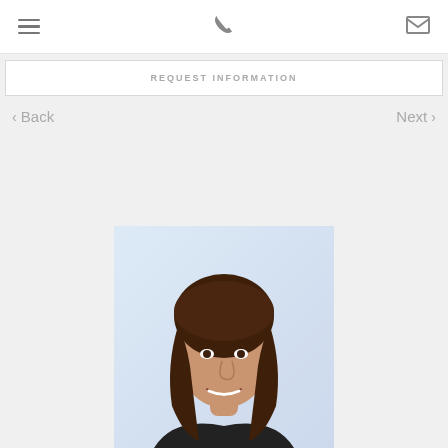Menu | Phone | Email icons
REQUEST INFORMATION
< Back
Next >
[Figure (photo): Headshot photo of a woman with long brown hair, smiling, against a light blue/grey background]